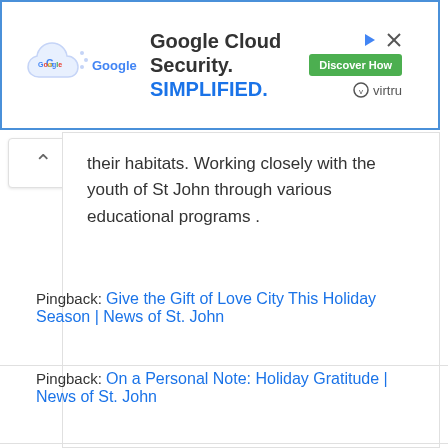[Figure (screenshot): Google Cloud Security advertisement banner with Google logo on cloud graphic, text 'Google Cloud Security. SIMPLIFIED.' in bold, green 'Discover How' button, and Virtru logo badge. Blue border around the ad.]
their habitats. Working closely with the youth of St John through various educational programs .
Pingback: Give the Gift of Love City This Holiday Season | News of St. John
Pingback: On a Personal Note: Holiday Gratitude | News of St. John